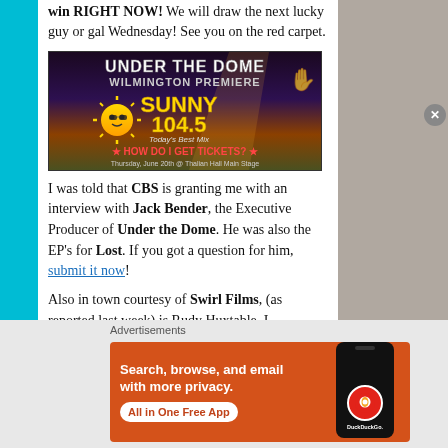win RIGHT NOW!  We will draw the next lucky guy or gal Wednesday!  See you on the red carpet.
[Figure (photo): Event promotional image for 'Under the Dome Wilmington Premiere' featuring Sunny 104.5 radio station branding, a sun mascot, text reading 'HOW DO I GET TICKETS?' and 'Thursday, June 20th @ Thalian Hall Main Stage']
I was told that CBS is granting me with an interview with Jack Bender, the Executive Producer of Under the Dome.  He was also the EP's for Lost.  If you got a question for him, submit it now!
Also in town courtesy of Swirl Films, (as reported last week) is Rudy Huxtable. I
Advertisements
[Figure (photo): DuckDuckGo advertisement banner with orange background. Text: 'Search, browse, and email with more privacy. All in One Free App'. Shows a smartphone with DuckDuckGo logo.]